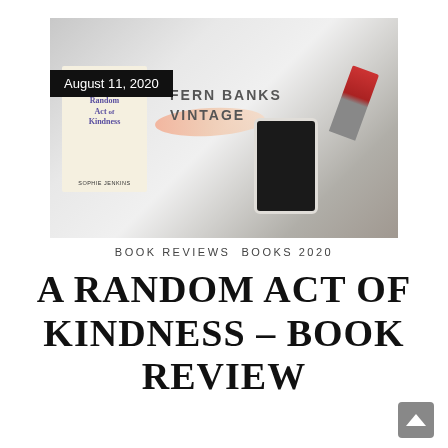[Figure (photo): Blog post header image showing a book cover for 'A Random Act of Kindness' by Sophie Jenkins overlaid on a flat-lay photo of accessories (sunglasses, jewelry, phone, lipstick, scarf, leather bag). A black badge shows the date 'August 11, 2020'. The blog name 'FERN BANKS VINTAGE' appears in bold uppercase text over the image.]
BOOK REVIEWS  BOOKS 2020
A RANDOM ACT OF KINDNESS – BOOK REVIEW